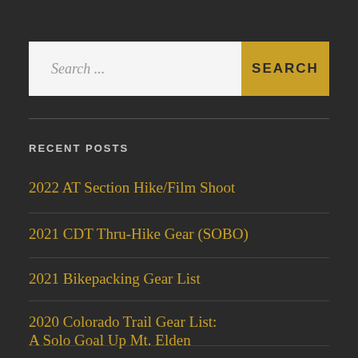[Figure (screenshot): Search bar with text input area showing 'Search ...' placeholder and a gold SEARCH button on the right]
RECENT POSTS
2022 AT Section Hike/Film Shoot
2021 CDT Thru-Hike Gear (SOBO)
2021 Bikepacking Gear List
2020 Colorado Trail Gear List:
A Solo Goal Up Mt. Elden